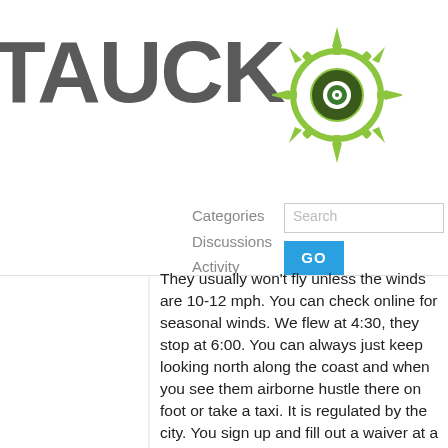[Figure (logo): Tauck logo with compass/gear icon in green and grey text reading TAUCK]
Categories   Discussions   Activity   Search   GO
They usually won't fly unless the winds are 10-12 mph. You can check online for seasonal winds. We flew at 4:30, they stop at 6:00. You can always just keep looking north along the coast and when you see them airborne hustle there on foot or take a taxi. It is regulated by the city. You sign up and fill out a waiver at a kiosk. The guy there assigns you to a pilot, you pay the pilot who is an independent contractor. $80 US or 260 Soles cash, no credit cards, for 10 min flight- it ain't cheap. All have GoPros and give you the memory card after the flight